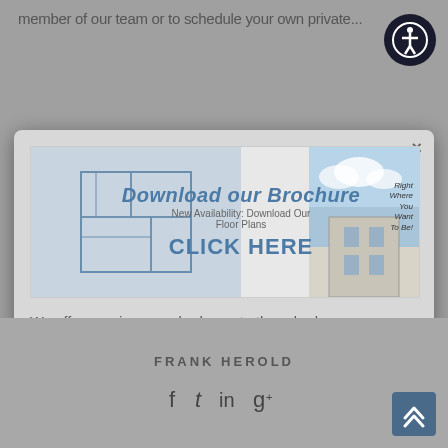member of our team or to schedule your own private...
[Figure (screenshot): Accessibility icon button (person with arms outstretched in circle)]
[Figure (screenshot): Modal popup with floor plan banner overlay showing 'Download our Brochure / CLICK HERE' and 'New Availability: Download Our Floor Plans' overlaid. Right side shows building image with text 'Right Where You Want To Be!']
We offer spacious one-bedroom to three-bedroom condominiums overlooking beautiful Sarasota Bay. View our floor plan options today!
DOWNLOAD NOW
FRANK HEROLD
[Figure (infographic): Social media icons: Facebook, Twitter, LinkedIn, Google+]
[Figure (infographic): Back to top button with double up-arrow chevrons]